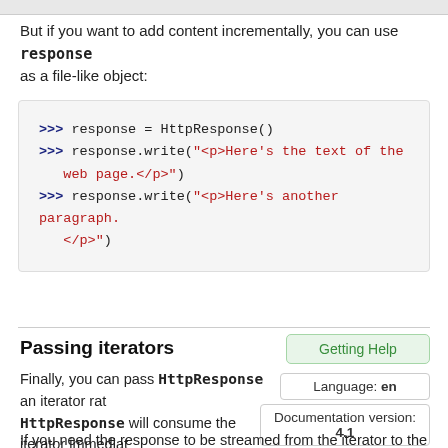But if you want to add content incrementally, you can use response as a file-like object:
[Figure (screenshot): Code block showing Python interactive session with HttpResponse usage: response = HttpResponse(), response.write('<p>Here\'s the text of the web page.</p>'), response.write('<p>Here\'s another paragraph.</p>')]
Passing iterators
Finally, you can pass HttpResponse an iterator rather than strings. HttpResponse will consume the iterator immediately, store its content as a string, and discard it. Objects with a close() method such as files and generators are immediately closed.
If you need the response to be streamed from the iterator to the